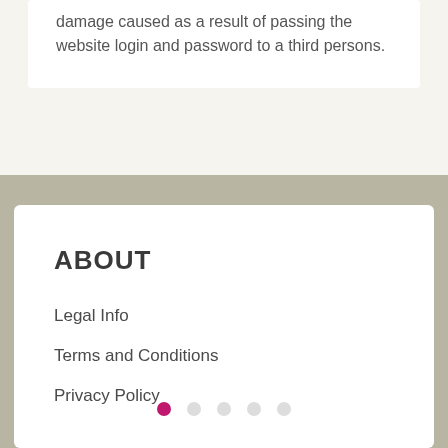damage caused as a result of passing the website login and password to a third persons.
ABOUT
Legal Info
Terms and Conditions
Privacy Policy